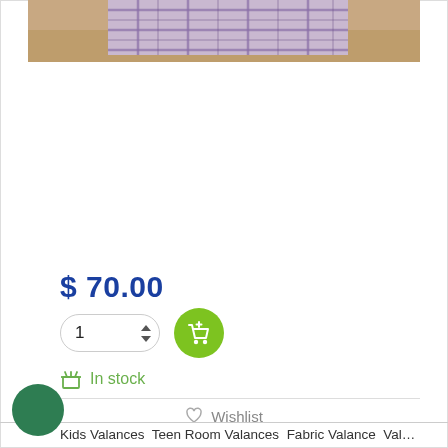[Figure (photo): Partial view of a plaid fabric valance on a wooden floor background, cropped at top of page]
$ 70.00
[Figure (other): Quantity input box showing '1' with up/down arrows, and a green circular add-to-cart button with shopping cart icon]
In stock
Wishlist
Kids Valances  Teen Room Valances  Fabric Valance  Valances